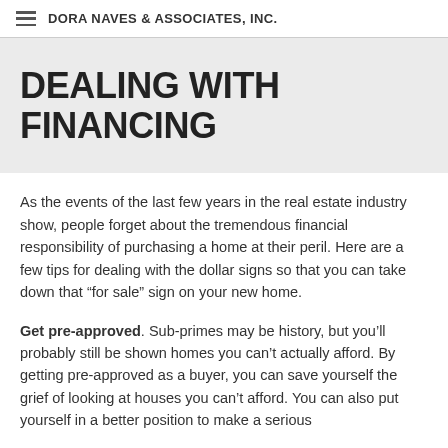DORA NAVES & ASSOCIATES, INC.
DEALING WITH FINANCING
As the events of the last few years in the real estate industry show, people forget about the tremendous financial responsibility of purchasing a home at their peril. Here are a few tips for dealing with the dollar signs so that you can take down that “for sale” sign on your new home.
Get pre-approved. Sub-primes may be history, but you’ll probably still be shown homes you can’t actually afford. By getting pre-approved as a buyer, you can save yourself the grief of looking at houses you can’t afford. You can also put yourself in a better position to make a serious offer, because you find that total that lenders will allow.